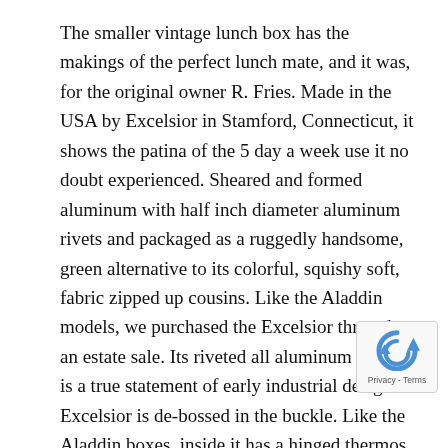The smaller vintage lunch box has the makings of the perfect lunch mate, and it was, for the original owner R. Fries. Made in the USA by Excelsior in Stamford, Connecticut, it shows the patina of the 5 day a week use it no doubt experienced. Sheared and formed aluminum with half inch diameter aluminum rivets and packaged as a ruggedly handsome, green alternative to its colorful, squishy soft, fabric zipped up cousins. Like the Aladdin models, we purchased the Excelsior through an estate sale. Its riveted all aluminum design is a true statement of early industrial design. Excelsior is de-bossed in the buckle. Like the Aladdin boxes, inside it has a hinged thermos holder, outside secure hinged buckles as closures.
These lunch boxes have a few minor dings, light pitting, and minor scratches, all indicative of light